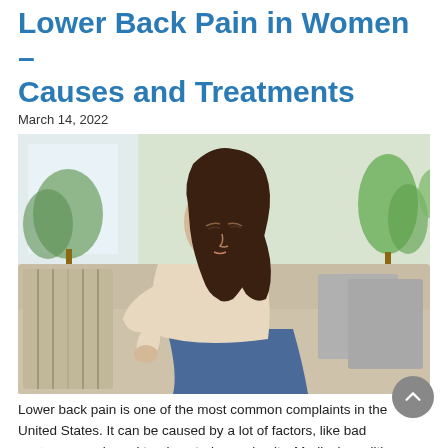Lower Back Pain in Women – Causes and Treatments
March 14, 2022
[Figure (photo): A woman sitting on a light beige couch, leaning forward and holding her lower back in pain. She is wearing a cream sweater and blue jeans. The background shows an indoor living room setting with plants and cushions.]
Lower back pain is one of the most common complaints in the United States. It can be caused by a lot of factors, like bad posture, muscle and tendon strain, or obesity. Medical conditions like arthritis, disc injuries, hormonal issues, and more can also result